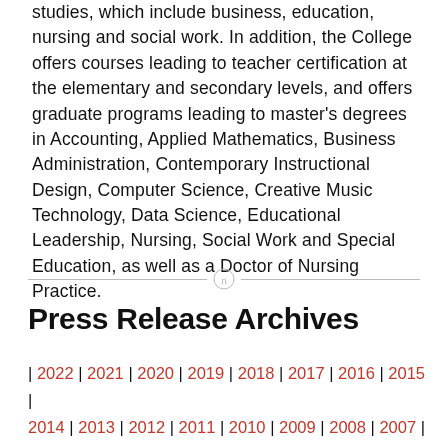studies, which include business, education, nursing and social work. In addition, the College offers courses leading to teacher certification at the elementary and secondary levels, and offers graduate programs leading to master's degrees in Accounting, Applied Mathematics, Business Administration, Contemporary Instructional Design, Computer Science, Creative Music Technology, Data Science, Educational Leadership, Nursing, Social Work and Special Education, as well as a Doctor of Nursing Practice.
[Figure (other): Horizontal divider line with small circular icon containing letter n in the center]
Press Release Archives
| 2022 | 2021 | 2020 | 2019 | 2018 | 2017 | 2016 | 2015 | 2014 | 2013 | 2012 | 2011 | 2010 | 2009 | 2008 | 2007 | 2006 | 2005 | 2004 | 2003 | 2002 | 2001 | 2000 | 1999 |